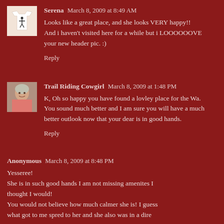[Figure (photo): Small avatar image of a white t-shirt with a figure on it]
Serena March 8, 2009 at 8:49 AM
Looks like a great place, and she looks VERY happy!! And i haven't visited here for a while but i LOOOOOOVE your new header pic. :)
Reply
[Figure (photo): Small avatar photo of Trail Riding Cowgirl, a woman in pink]
Trail Riding Cowgirl March 8, 2009 at 1:48 PM
K, Oh so happy you have found a lovley place for the Wa. You sound much better and I am sure you will have a much better outlook now that your dear is in good hands.
Reply
Anonymous March 8, 2009 at 8:48 PM
Yesseree!
She is in such good hands I am not missing amenites I thought I would!
You would not believe how much calmer she is! I guess what got to me spred to her and she also was in a dire